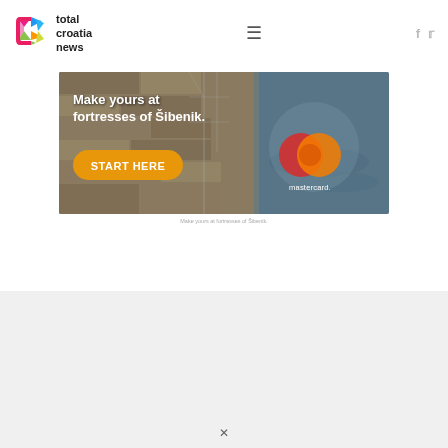[Figure (logo): Total Croatia News logo with colorful C icon and wordmark]
[Figure (illustration): Advertisement banner: Make yours at fortresses of Šibenik. START HERE button. Mastercard logo. Background shows stone fortress walls and water.]
Make yours at fortresses of Šibenik.